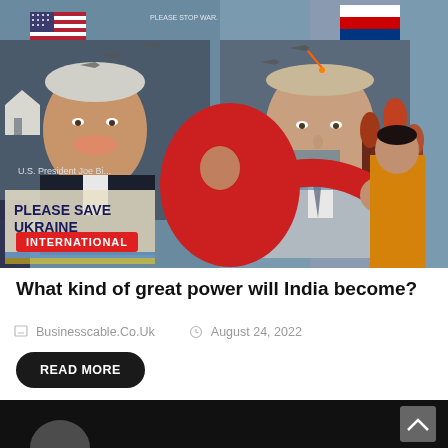[Figure (photo): Street mural showing portraits of U.S. President Joe Biden with American flag and Russian President Putin with Russian flag, with text 'Please Stop War' and 'Please Save Ukraine'. People in colorful clothing walk past.]
INTERNATIONAL
What kind of great power will India become?
Businesscable.Co.Uk   August 24, 2022
READ MORE
[Figure (photo): Partially visible image at bottom of page, dark background.]